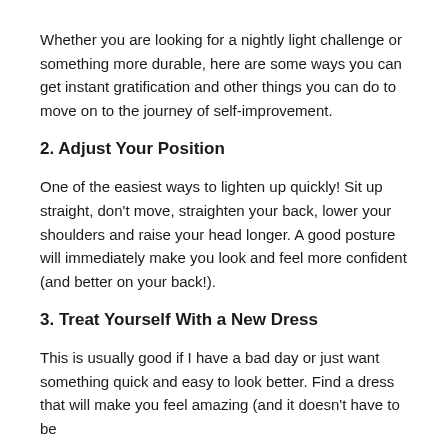Whether you are looking for a nightly light challenge or something more durable, here are some ways you can get instant gratification and other things you can do to move on to the journey of self-improvement.
2. Adjust Your Position
One of the easiest ways to lighten up quickly! Sit up straight, don’t move, straighten your back, lower your shoulders and raise your head longer. A good posture will immediately make you look and feel more confident (and better on your back!).
3. Treat Yourself With a New Dress
This is usually good if I have a bad day or just want something quick and easy to look better. Find a dress that will make you feel amazing (and it doesn’t have to be